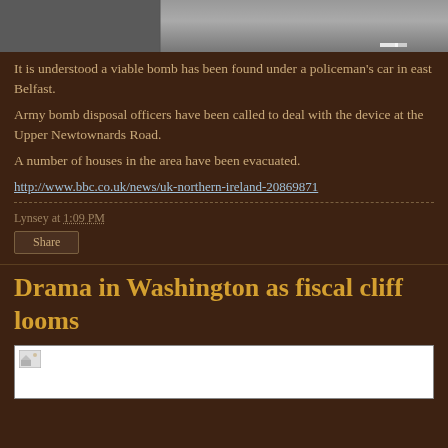[Figure (photo): A road/street photograph, appears to be a news article image related to Belfast bomb story]
It is understood a viable bomb has been found under a policeman's car in east Belfast.
Army bomb disposal officers have been called to deal with the device at the Upper Newtownards Road.
A number of houses in the area have been evacuated.
http://www.bbc.co.uk/news/uk-northern-ireland-20869871
Lynsey at 1:09 PM
Share
Drama in Washington as fiscal cliff looms
[Figure (photo): Bottom image placeholder for the next article about Washington fiscal cliff]